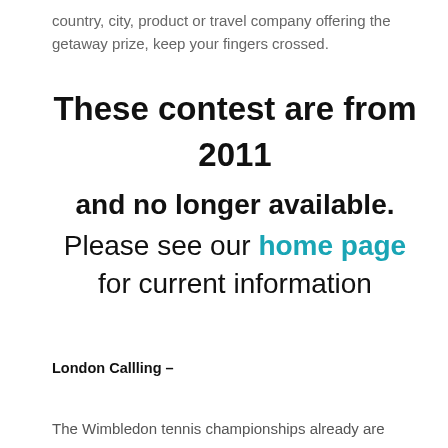country, city, product or travel company offering the getaway prize, keep your fingers crossed.
These contest are from 2011 and no longer available.
Please see our home page for current information
London Callling –
The Wimbledon tennis championships already are